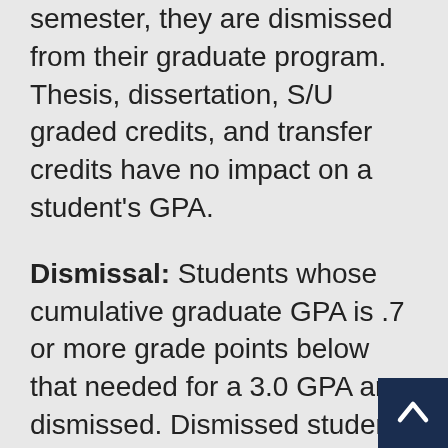semester, they are dismissed from their graduate program. Thesis, dissertation, S/U graded credits, and transfer credits have no impact on a student's GPA.
Dismissal: Students whose cumulative graduate GPA is .7 or more grade points below that needed for a 3.0 GPA are dismissed. Dismissed students are no longer in a graduate program but may take graduate-level courses as a Grad Special. Students wishing to complete their degree must obtain approval to take graduate-level courses, raise their graduate GPA to at least 3.0 and then re-apply to a graduate